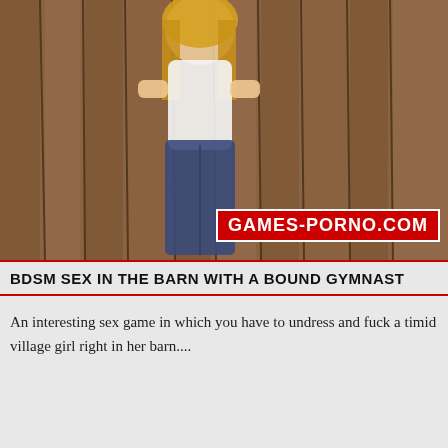[Figure (illustration): 3D rendered illustration of a blonde woman in a white tank top and jeans standing in a wooden barn setting with the watermark GAMES-PORNO.COM overlaid in red]
BDSM SEX IN THE BARN WITH A BOUND GYMNAST
An interesting sex game in which you have to undress and fuck a timid village girl right in her barn....